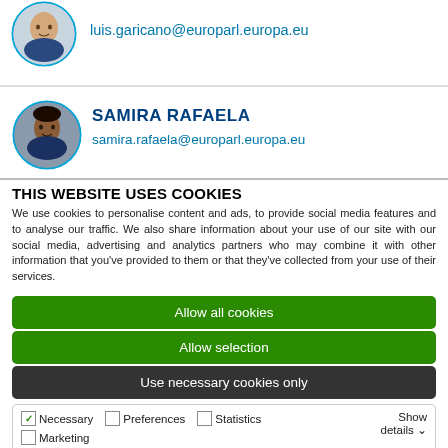[Figure (photo): Partial photo of Luis Garicano in a circular blue-bordered avatar, top portion visible]
luis.garicano@europarl.europa.eu
[Figure (photo): Photo of Samira Rafaela in a circular blue-bordered avatar]
SAMIRA RAFAELA
samira.rafaela@europarl.europa.eu
THIS WEBSITE USES COOKIES
We use cookies to personalise content and ads, to provide social media features and to analyse our traffic. We also share information about your use of our site with our social media, advertising and analytics partners who may combine it with other information that you've provided to them or that they've collected from your use of their services.
Allow all cookies
Allow selection
Use necessary cookies only
☑ Necessary   ☐ Preferences   ☐ Statistics   ☐ Marketing   Show details ∨